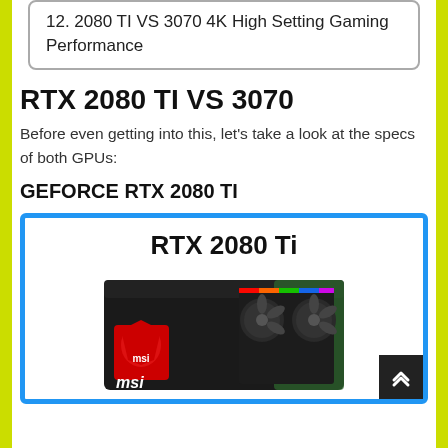12. 2080 TI VS 3070 4K High Setting Gaming Performance
RTX 2080 TI VS 3070
Before even getting into this, let's take a look at the specs of both GPUs:
GEFORCE RTX 2080 TI
[Figure (photo): MSI RTX 2080 Ti graphics card product box photo inside a blue-bordered product card with title 'RTX 2080 Ti']